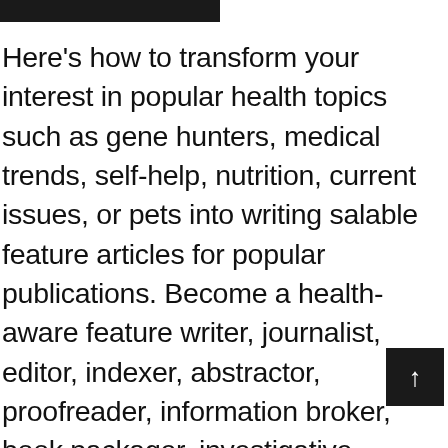Here's how to transform your interest in popular health topics such as gene hunters, medical trends, self-help, nutrition, current issues, or pets into writing salable feature articles for popular publications. Become a health-aware feature writer, journalist, editor, indexer, abstractor, proofreader, information broker, book packager, investigative reporter, pharmaceutical copywriter, or documentary video producer. Here are the skills you'll need to transform your interest in popular science into writing health and medical feature and filler articles or columns for a wide variety of publications. For those who always wanted to write or edit medical publications, scripts,